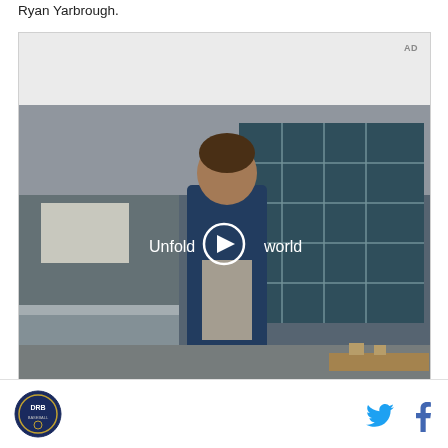Ryan Yarbrough.
[Figure (screenshot): Advertisement video player showing a young man in a denim jacket walking in a diner/restaurant setting with text 'Unfold your world' and a play button overlay. 'AD' label in top right corner.]
DRB logo | Twitter icon | Facebook icon